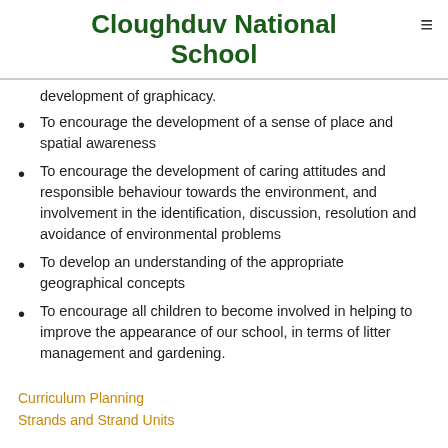Cloughduv National School
development of graphicacy.
To encourage the development of a sense of place and spatial awareness
To encourage the development of caring attitudes and responsible behaviour towards the environment, and involvement in the identification, discussion, resolution and avoidance of environmental problems
To develop an understanding of the appropriate geographical concepts
To encourage all children to become involved in helping to improve the appearance of our school, in terms of litter management and gardening.
Curriculum Planning
Strands and Strand Units